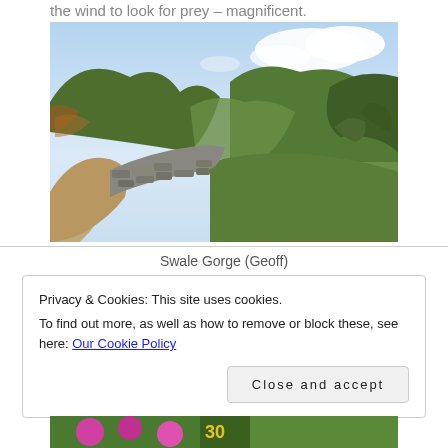the wind to look for prey – magnificent.
[Figure (photo): A countryside trail beside a dry stone wall winding through green hills under a partly cloudy sky, with a valley visible in the background. Swale Gorge photo by Geoff.]
Swale Gorge (Geoff)
Privacy & Cookies: This site uses cookies.
To find out more, as well as how to remove or block these, see here: Our Cookie Policy
[Close and accept]
[Figure (photo): Partial view of a garden scene with colorful flowers, partially obscured by the cookie banner overlay.]